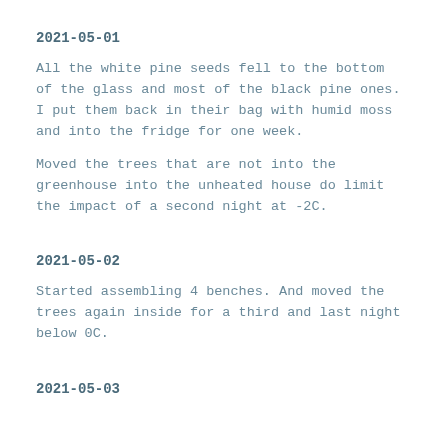2021-05-01
All the white pine seeds fell to the bottom of the glass and most of the black pine ones. I put them back in their bag with humid moss and into the fridge for one week.
Moved the trees that are not into the greenhouse into the unheated house do limit the impact of a second night at -2C.
2021-05-02
Started assembling 4 benches. And moved the trees again inside for a third and last night below 0C.
2021-05-03